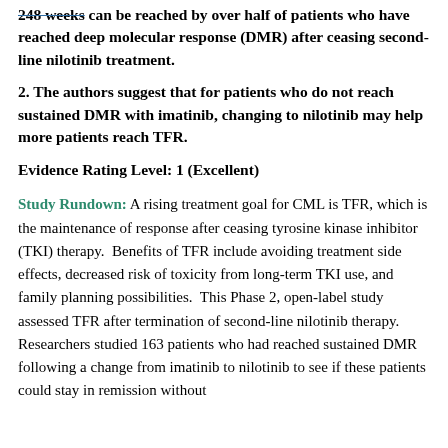248 weeks can be reached by over half of patients who have reached deep molecular response (DMR) after ceasing second-line nilotinib treatment.
2. The authors suggest that for patients who do not reach sustained DMR with imatinib, changing to nilotinib may help more patients reach TFR.
Evidence Rating Level: 1 (Excellent)
Study Rundown: A rising treatment goal for CML is TFR, which is the maintenance of response after ceasing tyrosine kinase inhibitor (TKI) therapy. Benefits of TFR include avoiding treatment side effects, decreased risk of toxicity from long-term TKI use, and family planning possibilities. This Phase 2, open-label study assessed TFR after termination of second-line nilotinib therapy. Researchers studied 163 patients who had reached sustained DMR following a change from imatinib to nilotinib to see if these patients could stay in remission without